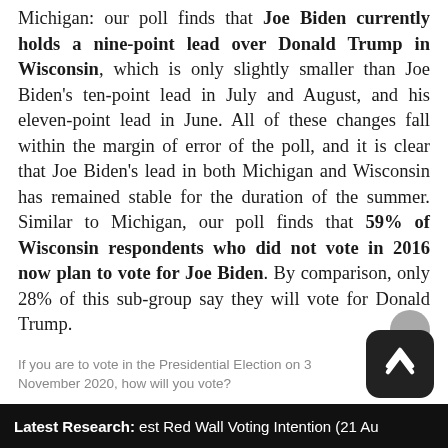Michigan: our poll finds that Joe Biden currently holds a nine-point lead over Donald Trump in Wisconsin, which is only slightly smaller than Joe Biden's ten-point lead in July and August, and his eleven-point lead in June. All of these changes fall within the margin of error of the poll, and it is clear that Joe Biden's lead in both Michigan and Wisconsin has remained stable for the duration of the summer. Similar to Michigan, our poll finds that 59% of Wisconsin respondents who did not vote in 2016 now plan to vote for Joe Biden. By comparison, only 28% of this sub-group say they will vote for Donald Trump.
If you are to vote in the Presidential Election on 3 November 2020, how will you vote?
Latest Research: est Red Wall Voting Intention (21 Au